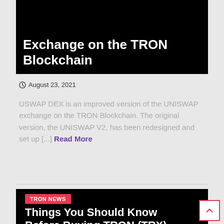[Figure (screenshot): Black hero image with white title text: Exchange on the TRON Blockchain]
Exchange on the TRON Blockchain
August 23, 2021
USWAP DEX is an improved version of the UNISWAP exchange on the TRON Blockchain. The original version, the UNISWAP V2, has been redesigned and set up [...] Read More
[Figure (screenshot): Black hero image for second article with TRON NEWS badge and title: Things You Should Know Before Buying TRON (TRX)]
TRON NEWS
Things You Should Know Before Buying TRON (TRX)